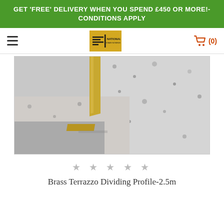GET 'FREE' DELIVERY WHEN YOU SPEND £450 OR MORE!- CONDITIONS APPLY
[Figure (logo): National Stair Nosings logo in gold/yellow square]
[Figure (photo): A brass L-shaped terrazzo dividing profile strip installed between two granite/marble floor tiles, shown close up at an angle. The profile is gold/brass colored and fits at the edge/step junction.]
★ ★ ★ ★ ★
Brass Terrazzo Dividing Profile-2.5m